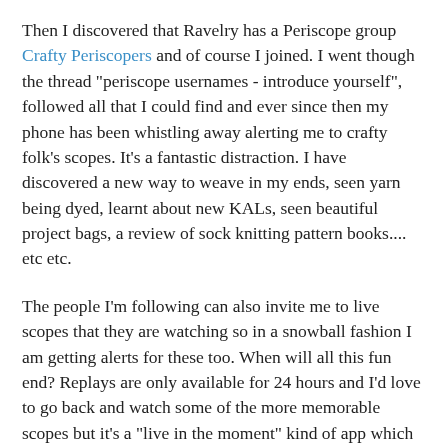Then I discovered that Ravelry has a Periscope group Crafty Periscopers and of course I joined. I went though the thread "periscope usernames - introduce yourself", followed all that I could find and ever since then my phone has been whistling away alerting me to crafty folk's scopes. It's a fantastic distraction. I have discovered a new way to weave in my ends, seen yarn being dyed, learnt about new KALs, seen beautiful project bags, a review of sock knitting pattern books.... etc etc.
The people I'm following can also invite me to live scopes that they are watching so in a snowball fashion I am getting alerts for these too. When will all this fun end? Replays are only available for 24 hours and I'd love to go back and watch some of the more memorable scopes but it's a "live in the moment" kind of app which is no bad thing.
I must admit to having not plucked up the courage to scope myself yet and so my profile page only displays a number 1 by my love heart. (Periscope measures your viewers' hearts and then ranks you.) But I am feeling encouraged by the topic suggestions on the Ravelry group "Weekly prompts". This week's is "how to get out